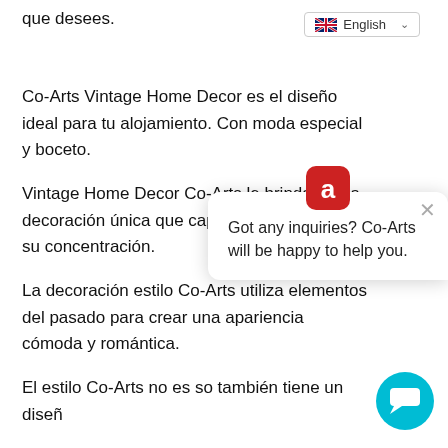que desees.
[Figure (screenshot): Language selector dropdown showing English with UK flag]
Co-Arts Vintage Home Decor es el diseño ideal para tu alojamiento. Con moda especial y boceto.
Vintage Home Decor Co-Arts le brindará una decoración única que captará con confianza su concentración.
La decoración estilo Co-Arts utiliza elementos del pasado para crear una apariencia cómoda y romántica.
El estilo Co-Arts no es so... también tiene un diseñ...
Vintage Home Decor Co-Arts ahora ha combinado... desde el pasado hasta el presente que hará much... diseño.
Y con la opción más moderna para una toma, Vintage...
[Figure (screenshot): Chat popup widget with Co-Arts logo icon and message: Got any inquiries? Co-Arts will be happy to help you. With close (×) button and teal chat bubble button.]